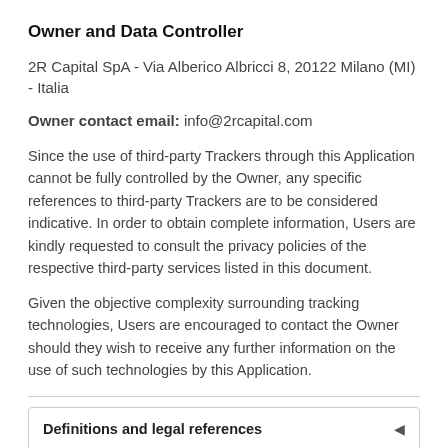Owner and Data Controller
2R Capital SpA - Via Alberico Albricci 8, 20122 Milano (MI) - Italia
Owner contact email: info@2rcapital.com
Since the use of third-party Trackers through this Application cannot be fully controlled by the Owner, any specific references to third-party Trackers are to be considered indicative. In order to obtain complete information, Users are kindly requested to consult the privacy policies of the respective third-party services listed in this document.
Given the objective complexity surrounding tracking technologies, Users are encouraged to contact the Owner should they wish to receive any further information on the use of such technologies by this Application.
Definitions and legal references